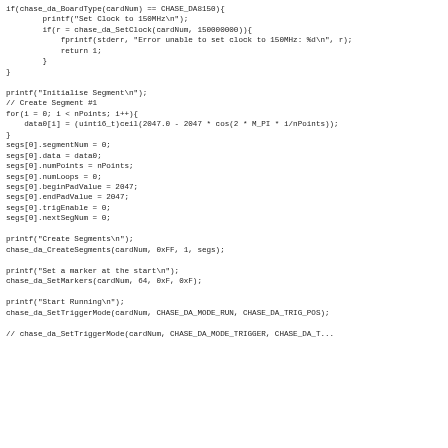if(chase_da_BoardType(cardNum) == CHASE_DA8150){
        printf("Set Clock to 150MHz\n");
        if(r = chase_da_SetClock(cardNum, 150000000)){
            fprintf(stderr, "Error unable to set clock to 150MHz: %d\n", r);
            return 1;
        }
}

printf("Initialise Segment\n");
// Create Segment #1
for(i = 0; i < nPoints; i++){
    data0[i] = (uint16_t)ceil(2047.0 - 2047 * cos(2 * M_PI * i/nPoints));
}
segs[0].segmentNum = 0;
segs[0].data = data0;
segs[0].numPoints = nPoints;
segs[0].numLoops = 0;
segs[0].beginPadValue = 2047;
segs[0].endPadValue = 2047;
segs[0].trigEnable = 0;
segs[0].nextSegNum = 0;

printf("Create Segments\n");
chase_da_CreateSegments(cardNum, 0xFF, 1, segs);

printf("Set a marker at the start\n");
chase_da_SetMarkers(cardNum, 64, 0xF, 0xF);

printf("Start Running\n");
chase_da_SetTriggerMode(cardNum, CHASE_DA_MODE_RUN, CHASE_DA_TRIG_POS);

// chase_da_SetTriggerMode(cardNum, CHASE_DA_MODE_TRIGGER, CHASE_DA...